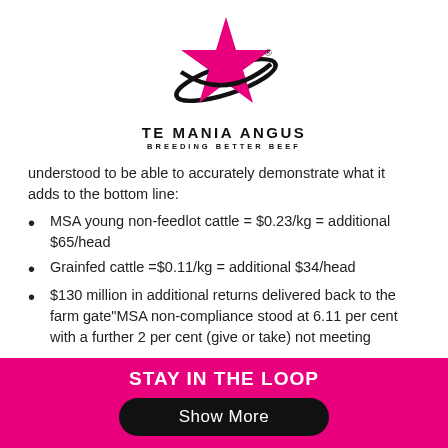[Figure (logo): Te Mania Angus logo — pink/magenta star with orbit ring, black text 'TE MANIA ANGUS' and 'BREEDING BETTER BEEF']
understood to be able to accurately demonstrate what it adds to the bottom line:
MSA young non-feedlot cattle = $0.23/kg = additional $65/head
Grainfed cattle =$0.11/kg = additional $34/head
$130 million in additional returns delivered back to the farm gate"MSA non-compliance stood at 6.11 per cent with a further 2 per cent (give or take) not meeting
STAY IN THE LOOP
Show More